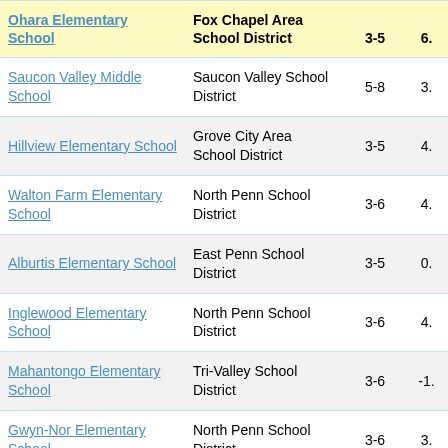| Ohara Elementary School | Fox Chapel Area School District | 3-5 | 6. |
| --- | --- | --- | --- |
| Saucon Valley Middle School | Saucon Valley School District | 5-8 | 3. |
| Hillview Elementary School | Grove City Area School District | 3-5 | 4. |
| Walton Farm Elementary School | North Penn School District | 3-6 | 4. |
| Alburtis Elementary School | East Penn School District | 3-5 | 0. |
| Inglewood Elementary School | North Penn School District | 3-6 | 4. |
| Mahantongo Elementary School | Tri-Valley School District | 3-6 | -1. |
| Gwyn-Nor Elementary School | North Penn School District | 3-6 | 3. |
| Rayne Elementary | Marion Center Area School... | 3- |  |